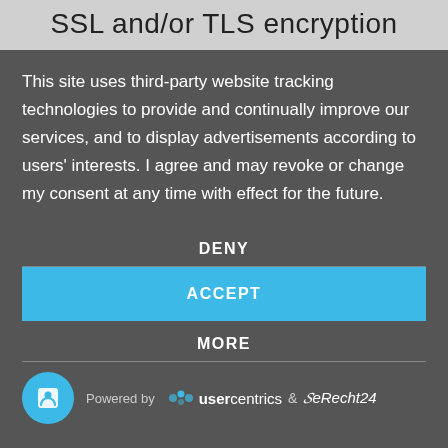SSL and/or TLS encryption
This site uses third-party website tracking technologies to provide and continually improve our services, and to display advertisements according to users' interests. I agree and may revoke or change my consent at any time with effect for the future.
DENY
ACCEPT
MORE
Powered by usercentrics & eRecht24